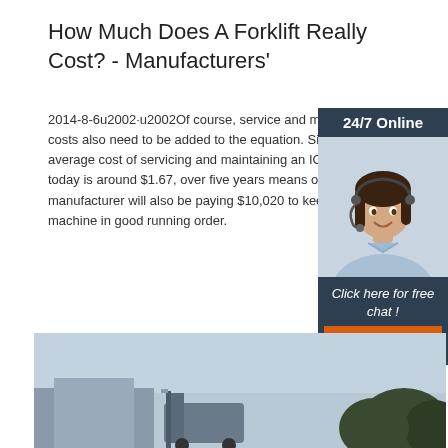How Much Does A Forklift Really Cost? - Manufacturers'
2014-8-6u2002·u2002Of course, service and maintenance costs also need to be added to the equation. Since the average cost of servicing and maintaining an IC forklift today is around $1.67, over five years means our manufacturer will also be paying $10,020 to keep the machine in good running order.
[Figure (photo): 24/7 Online chat widget with a woman wearing a headset, with a 'Click here for free chat!' message and a QUOTATION button]
Get Price
[Figure (photo): Bottom partial photo showing a forklift or industrial equipment outdoors]